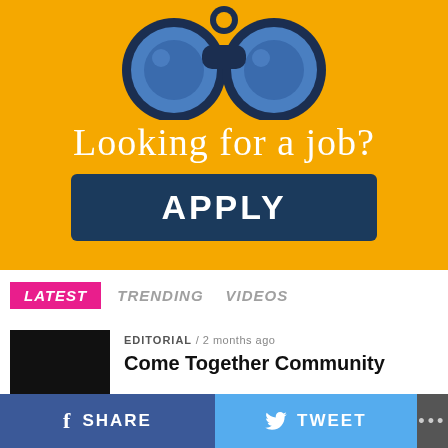[Figure (illustration): Yellow advertisement banner with binoculars icon at the top, text 'Looking for a job?' in white handwritten style, and a dark navy blue 'APPLY' button below.]
LATEST   TRENDING   VIDEOS
EDITORIAL / 2 months ago
Come Together Community
[Figure (photo): Black thumbnail image placeholder for article.]
SHARE   TWEET   ...